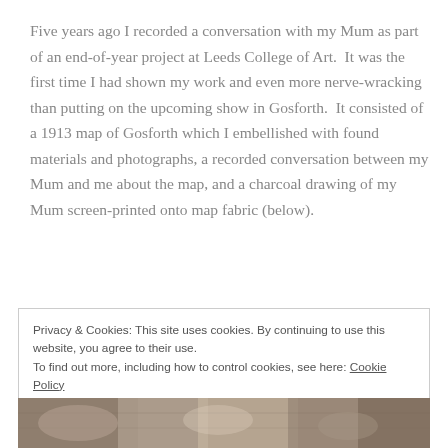Five years ago I recorded a conversation with my Mum as part of an end-of-year project at Leeds College of Art.  It was the first time I had shown my work and even more nerve-wracking than putting on the upcoming show in Gosforth.  It consisted of a 1913 map of Gosforth which I embellished with found materials and photographs, a recorded conversation between my Mum and me about the map, and a charcoal drawing of my Mum screen-printed onto map fabric (below).
Privacy & Cookies: This site uses cookies. By continuing to use this website, you agree to their use.
To find out more, including how to control cookies, see here: Cookie Policy
[Figure (photo): Partial view of a vintage map with photographs overlaid, showing sepia-toned imagery at the bottom of the page]